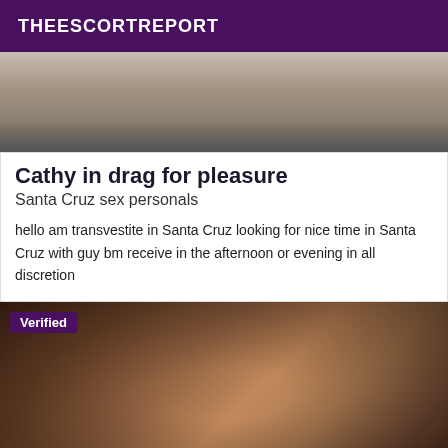THEESCORTREPORT
[Figure (photo): Top cropped photo showing a gym or room interior with dark equipment visible]
Cathy in drag for pleasure
Santa Cruz sex personals
hello am transvestite in Santa Cruz looking for nice time in Santa Cruz with guy bm receive in the afternoon or evening in all discretion
[Figure (photo): Photo of a woman in a bar setting with blurred face, dark hair, warm lighting with hanging glasses visible. Has a Verified badge overlay in top left.]